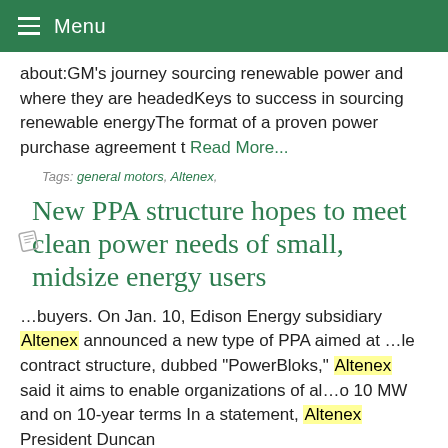Menu
about:GM's journey sourcing renewable power and where they are headedKeys to success in sourcing renewable energyThe format of a proven power purchase agreement t Read More...
Tags: general motors, Altenex,
New PPA structure hopes to meet clean power needs of small, midsize energy users
…buyers. On Jan. 10, Edison Energy subsidiary Altenex announced a new type of PPA aimed at …le contract structure, dubbed "PowerBloks," Altenex said it aims to enable organizations of al…o 10 MW and on 10-year terms In a statement, Altenex President Duncan